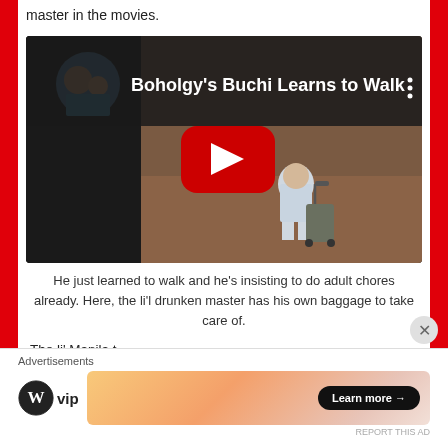master in the movies.
[Figure (screenshot): YouTube video embed titled 'Boholgy's Buchi Learns to Walk' showing a toddler pushing a suitcase in an airport, with a circular thumbnail of two people in water, a three-dot menu icon, and a red YouTube play button overlay.]
He just learned to walk and he's insisting to do adult chores already. Here, the li'l drunken master has his own baggage to take care of.
The li' Manila t...
Advertisements
[Figure (logo): WordPress VIP logo (circle W icon with 'vip' text) alongside an advertisement banner with gradient background and 'Learn more →' button]